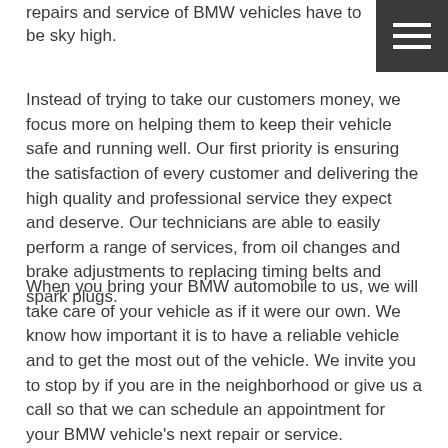repairs and service of BMW vehicles have to be sky high.
Instead of trying to take our customers money, we focus more on helping them to keep their vehicle safe and running well. Our first priority is ensuring the satisfaction of every customer and delivering the high quality and professional service they expect and deserve. Our technicians are able to easily perform a range of services, from oil changes and brake adjustments to replacing timing belts and spark plugs.
When you bring your BMW automobile to us, we will take care of your vehicle as if it were our own. We know how important it is to have a reliable vehicle and to get the most out of the vehicle. We invite you to stop by if you are in the neighborhood or give us a call so that we can schedule an appointment for your BMW vehicle's next repair or service.